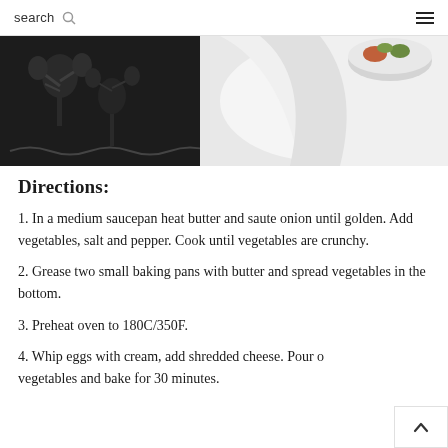search
[Figure (photo): Food photo showing a table setting with dishes containing vegetables and a white cloth napkin, black patterned background with tree/leaf design]
Directions:
1. In a medium saucepan heat butter and saute onion until golden. Add vegetables, salt and pepper. Cook until vegetables are crunchy.
2. Grease two small baking pans with butter and spread vegetables in the bottom.
3. Preheat oven to 180C/350F.
4. Whip eggs with cream, add shredded cheese. Pour over vegetables and bake for 30 minutes.